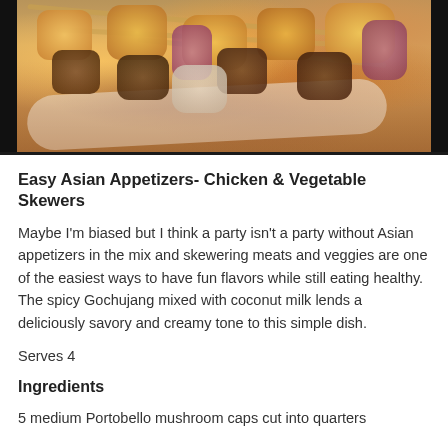[Figure (photo): Photo of chicken and vegetable skewers on a white platter, showing grilled mushrooms, onions, and glazed chicken pieces with sauce]
Easy Asian Appetizers- Chicken & Vegetable Skewers
Maybe I'm biased but I think a party isn't a party without Asian appetizers in the mix and skewering meats and veggies are one of the easiest ways to have fun flavors while still eating healthy. The spicy Gochujang mixed with coconut milk lends a deliciously savory and creamy tone to this simple dish.
Serves 4
Ingredients
5 medium Portobello mushroom caps cut into quarters